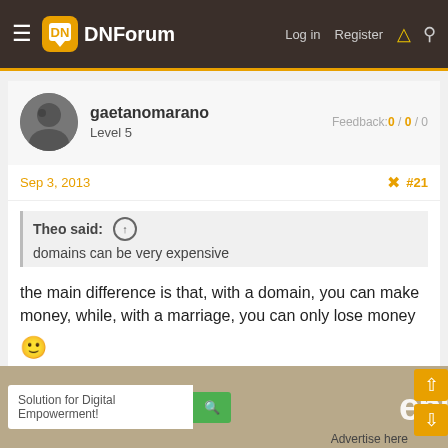DNForum — Log in  Register
gaetanomarano  Level 5  Feedback:0 / 0 / 0
Sep 3, 2013  #21
Theo said: ↑  domains can be very expensive
the main difference is that, with a domain, you can make money, while, with a marriage, you can only lose money 🙂
Solution for Digital Empowerment!  Advertise here